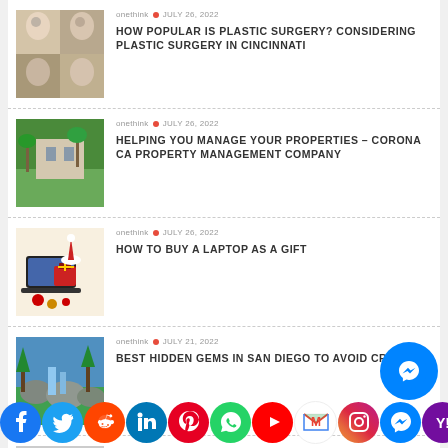onethink · JULY 26, 2022 — HOW POPULAR IS PLASTIC SURGERY? CONSIDERING PLASTIC SURGERY IN CINCINNATI
onethink · JULY 26, 2022 — HELPING YOU MANAGE YOUR PROPERTIES – CORONA CA PROPERTY MANAGEMENT COMPANY
onethink · JULY 26, 2022 — HOW TO BUY A LAPTOP AS A GIFT
onethink · JULY 21, 2022 — BEST HIDDEN GEMS IN SAN DIEGO TO AVOID CROWDS
Henry Marc · JULY 19, 2022 — (partial)
[Figure (infographic): Social media sharing bar with icons: Facebook, Twitter, Reddit, LinkedIn, Pinterest, WhatsApp, YouTube, Gmail, Instagram, Messenger, Yahoo]